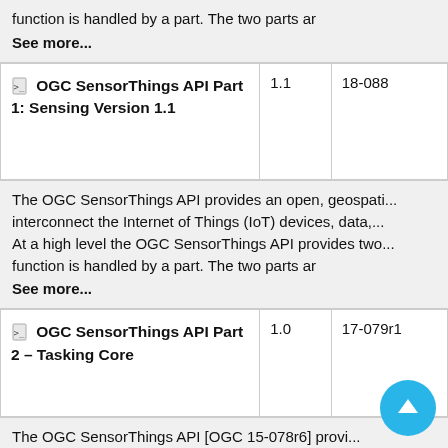function is handled by a part. The two parts ar
See more...
| Title | Version | ID |
| --- | --- | --- |
| OGC SensorThings API Part 1: Sensing Version 1.1 | 1.1 | 18-088 |
The OGC SensorThings API provides an open, geospati... interconnect the Internet of Things (IoT) devices, data,... At a high level the OGC SensorThings API provides two... function is handled by a part. The two parts ar
See more...
| Title | Version | ID |
| --- | --- | --- |
| OGC SensorThings API Part 2 – Tasking Core | 1.0 | 17-079r1 |
The OGC SensorThings API [OGC 15-078r6] provi... unified way to interconnect the Internet of Thin(IoT)...